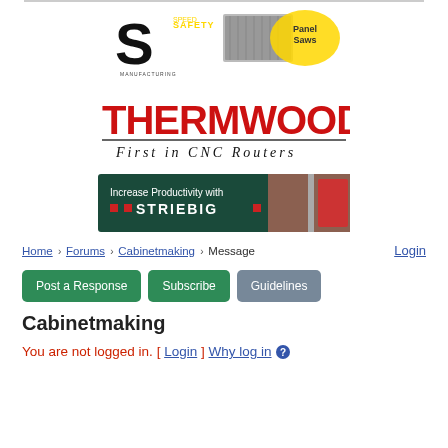[Figure (logo): Safety Speed Manufacturing panel saws advertisement logo]
[Figure (logo): Thermwood First in CNC Routers advertisement logo]
[Figure (logo): Striebig - Increase Productivity with Striebig advertisement banner]
Home › Forums › Cabinetmaking › Message
Login
Post a Response   Subscribe   Guidelines
Cabinetmaking
You are not logged in. [ Login ] Why log in ?